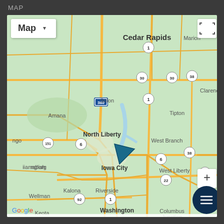MAP
[Figure (map): Google Maps screenshot centered on Iowa City, Iowa area, showing Cedar Rapids to the north, surrounding towns including North Liberty, Solon, West Branch, West Liberty, Wellman, Kalona, Riverside, Washington, Columbus Junction, Keota to the south. Highway markers visible: I-380, US-1, US-6, US-30, US-38, US-151, US-22, US-92. A blue navigation arrow marker is positioned at Iowa City. Map controls include Map type selector, expand button, zoom button, and menu button. Google branding at bottom left with 'Keyboard shortcuts', 'Map data ©2022 Google', and 'Terms of Use' at bottom.]